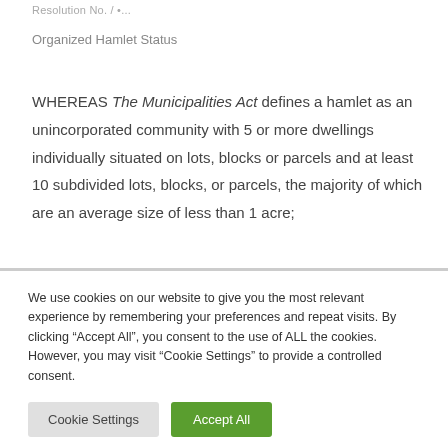Resolution No. / •...
Organized Hamlet Status
WHEREAS The Municipalities Act defines a hamlet as an unincorporated community with 5 or more dwellings individually situated on lots, blocks or parcels and at least 10 subdivided lots, blocks, or parcels, the majority of which are an average size of less than 1 acre;
We use cookies on our website to give you the most relevant experience by remembering your preferences and repeat visits. By clicking “Accept All”, you consent to the use of ALL the cookies. However, you may visit “Cookie Settings” to provide a controlled consent.
Cookie Settings
Accept All